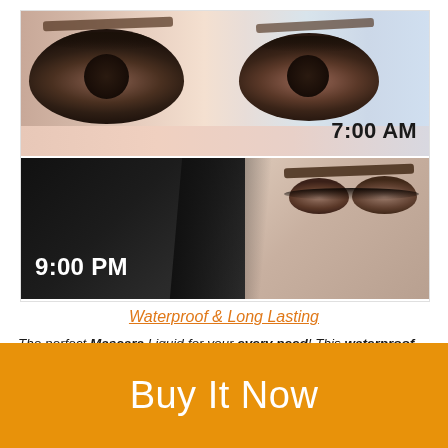[Figure (photo): Two-panel before-and-after style photo of eyes with mascara. Top panel shows natural daytime look with text '7:00 AM'. Bottom panel shows dramatic evening look with dark background on left and '9:00 PM' text in white.]
Waterproof & Long Lasting
The perfect Mascara Liquid for your every need! This waterproof and long-lasting Mascara formula ensures that
Buy It Now